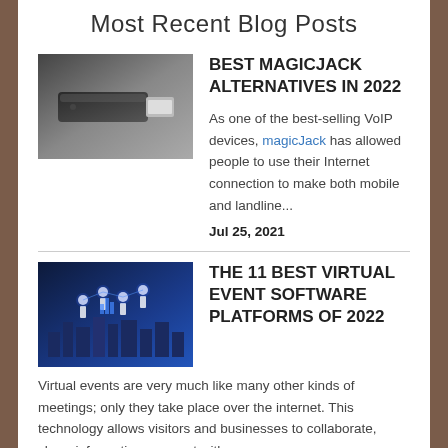Most Recent Blog Posts
[Figure (photo): A USB flash drive / MagicJack device on a gray background]
BEST MAGICJACK ALTERNATIVES IN 2022
As one of the best-selling VoIP devices, magicJack has allowed people to use their Internet connection to make both mobile and landline...
Jul 25, 2021
[Figure (photo): Virtual event concept illustration with people figures and digital technology elements on dark blue background]
THE 11 BEST VIRTUAL EVENT SOFTWARE PLATFORMS OF 2022
Virtual events are very much like many other kinds of meetings; only they take place over the internet. This technology allows visitors and businesses to collaborate, share information, connect with...